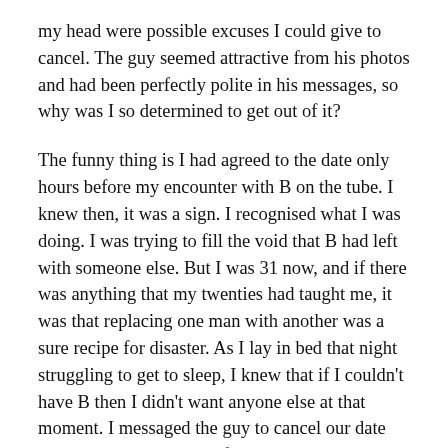my head were possible excuses I could give to cancel. The guy seemed attractive from his photos and had been perfectly polite in his messages, so why was I so determined to get out of it?
The funny thing is I had agreed to the date only hours before my encounter with B on the tube. I knew then, it was a sign. I recognised what I was doing. I was trying to fill the void that B had left with someone else. But I was 31 now, and if there was anything that my twenties had taught me, it was that replacing one man with another was a sure recipe for disaster. As I lay in bed that night struggling to get to sleep, I knew that if I couldn't have B then I didn't want anyone else at that moment. I messaged the guy to cancel our date and then deleted the app from my phone.
I made a decision to forget about men and spend the next six months concentrating on me. If, like that evening, fate decided that B and I would reconcile or I was to meet another